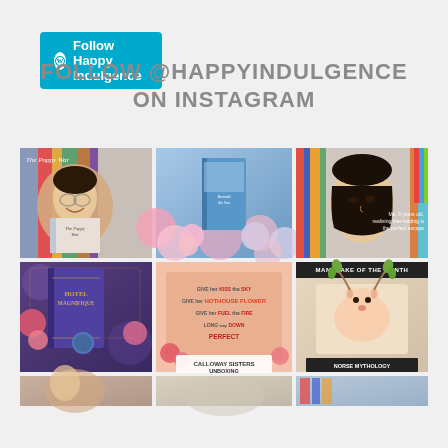[Figure (screenshot): WordPress Follow Happy Indulgence button in teal/cyan color]
FOLLOW @HAPPYINDULGENCE ON INSTAGRAM
[Figure (photo): Instagram grid showing 6 photos: 1) Person holding The Poppy War book, 2) Blue book with flowers, 3) Portrait of Asian woman looking up with bookshelf, 4) Hotel Magnifique book, 5) Calloway Sisters Unboxing letterboard, 6) Norse Mythology Unboxing - Mandrake of the Month box with deer illustration. Plus partial third row of 3 images.]